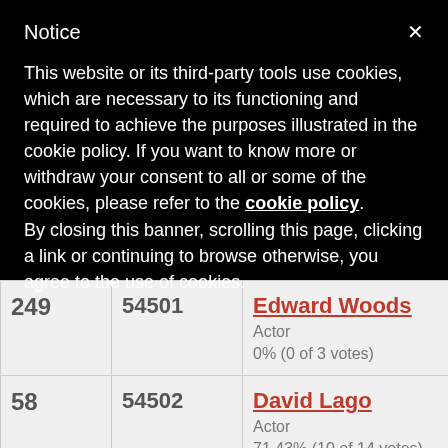Notice
This website or its third-party tools use cookies, which are necessary to its functioning and required to achieve the purposes illustrated in the cookie policy. If you want to know more or withdraw your consent to all or some of the cookies, please refer to the cookie policy.
By closing this banner, scrolling this page, clicking a link or continuing to browse otherwise, you agree to the use of cookies.
| Rank | ID | Name/Role/Votes | Photo |
| --- | --- | --- | --- |
| 249 | 54501 | Edward Woods
Actor
0% (0 of 3 votes) |  |
| 58 | 54502 | David Lago
Actor
71.43% (10 of 14 votes) |  |